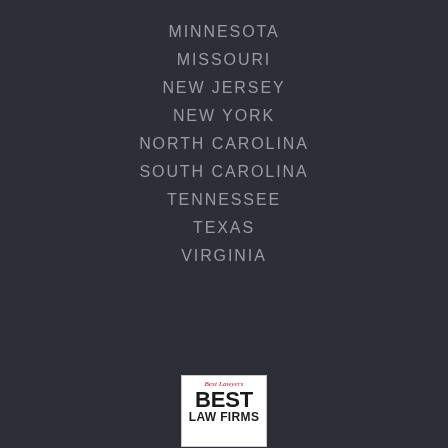MINNESOTA
MISSOURI
NEW JERSEY
NEW YORK
NORTH CAROLINA
SOUTH CAROLINA
TENNESSEE
TEXAS
VIRGINIA
[Figure (logo): Best Lawyers Best Law Firms badge/logo]